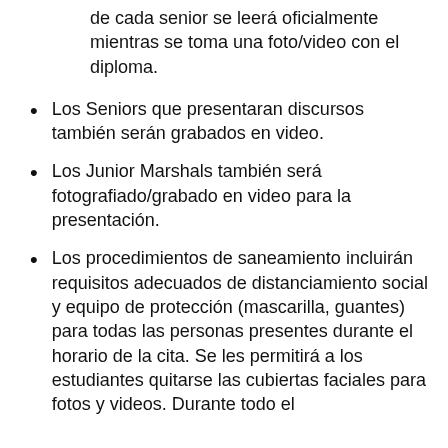de cada senior se leerá oficialmente mientras se toma una foto/video con el diploma.
Los Seniors que presentaran discursos también serán grabados en video.
Los Junior Marshals también será fotografiado/grabado en video para la presentación.
Los procedimientos de saneamiento incluirán requisitos adecuados de distanciamiento social y equipo de protección (mascarilla, guantes) para todas las personas presentes durante el horario de la cita. Se les permitirá a los estudiantes quitarse las cubiertas faciales para fotos y videos. Durante todo el